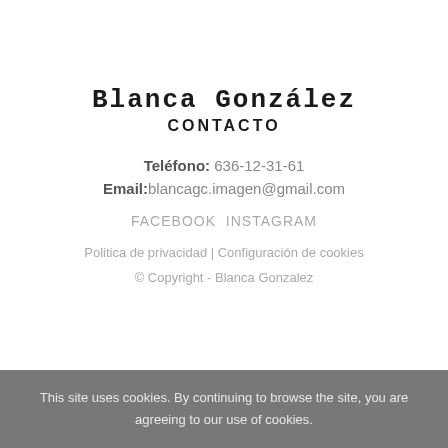Blanca González
CONTACTO
Teléfono: 636-12-31-61
Email:blancagc.imagen@gmail.com
FACEBOOK INSTAGRAM
Politica de privacidad | Configuración de cookies
© Copyright - Blanca Gonzalez
This site uses cookies. By continuing to browse the site, you are agreeing to our use of cookies.